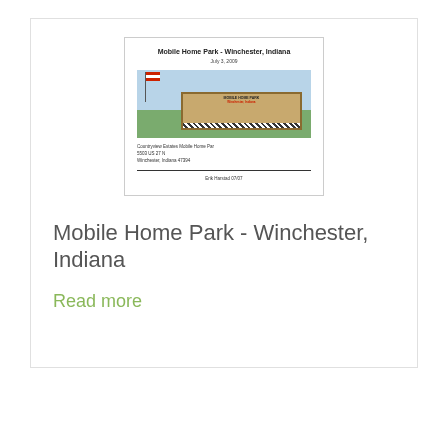[Figure (other): Thumbnail preview of a document cover page for 'Mobile Home Park - Winchester, Indiana', dated July 3, 2009, showing a photo of a mobile home park entrance sign with a flag, address details, and a footer line.]
Mobile Home Park - Winchester, Indiana
Read more